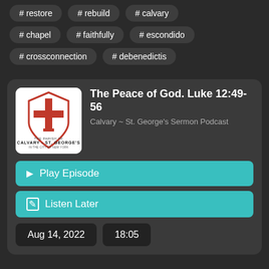# restore
# rebuild
# calvary
# chapel
# faithfully
# escondido
# crossconnection
# debenedictis
The Peace of God. Luke 12:49-56
Calvary ~ St. George's Sermon Podcast
Play Episode
Listen Later
Aug 14, 2022
18:05
In this sermon, the Reverend Jacob Smith unpacks one of the difficult sayings of Jesus.